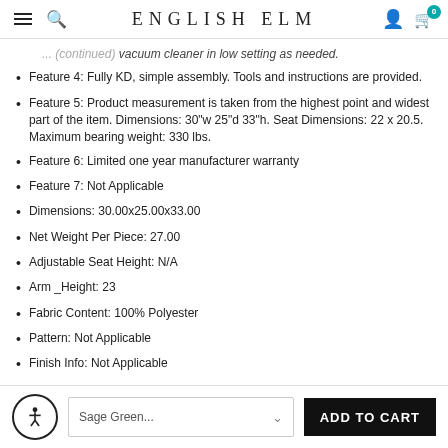ENGLISH ELM
vacuum cleaner in low setting as needed.
Feature 4: Fully KD, simple assembly. Tools and instructions are provided.
Feature 5: Product measurement is taken from the highest point and widest part of the item. Dimensions: 30"w 25"d 33"h. Seat Dimensions: 22 x 20.5. Maximum bearing weight: 330 lbs.
Feature 6: Limited one year manufacturer warranty
Feature 7: Not Applicable
Dimensions: 30.00x25.00x33.00
Net Weight Per Piece: 27.00
Adjustable Seat Height: N/A
Arm_Height: 23
Fabric Content: 100% Polyester
Pattern: Not Applicable
Finish Info: Not Applicable